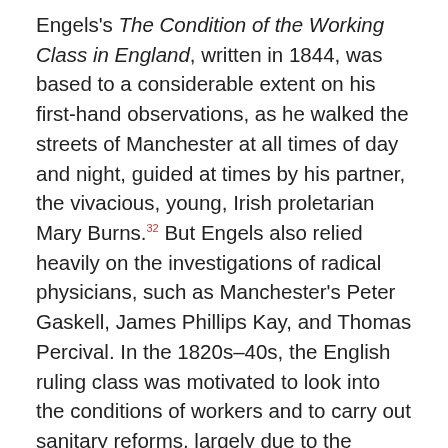Engels's The Condition of the Working Class in England, written in 1844, was based to a considerable extent on his first-hand observations, as he walked the streets of Manchester at all times of day and night, guided at times by his partner, the vivacious, young, Irish proletarian Mary Burns.32 But Engels also relied heavily on the investigations of radical physicians, such as Manchester's Peter Gaskell, James Phillips Kay, and Thomas Percival. In the 1820s–40s, the English ruling class was motivated to look into the conditions of workers and to carry out sanitary reforms, largely due to the spread of epidemics of cholera, typhus, typhoid, scarlet fever, and other diseases, that, while always worse in the vicinities of the poor, frequently expanded into the domains of the rich. However, the physicians who actually took on the task of remedying these evils were often, like Dr. Lydgate in George Eliot's Middlemarch, free thinkers, who saw medicine as "presenting the most perfect interchange between